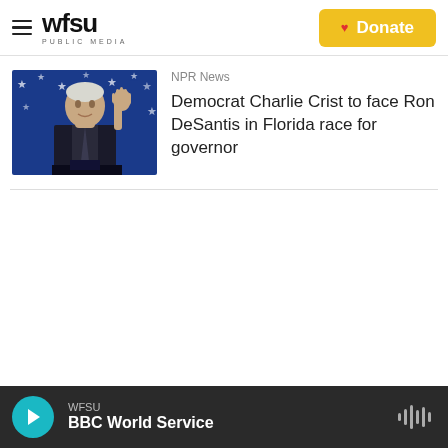WFSU PUBLIC MEDIA — Donate
[Figure (photo): Photo of a man in a dark suit raising his hand in front of a blue star-patterned background, speaking at a podium]
NPR News
Democrat Charlie Crist to face Ron DeSantis in Florida race for governor
WFSU — BBC World Service (player bar with play button and waveform icon)